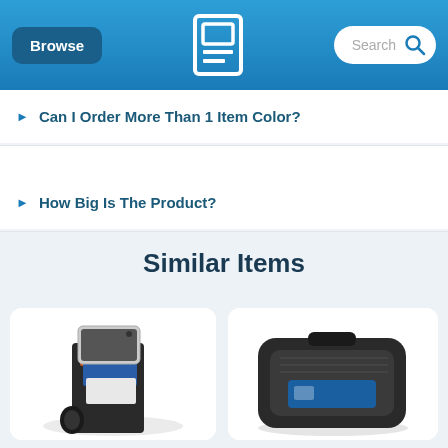Browse | [Logo] | Search
▶ Can I Order More Than 1 Item Color?
▶ How Big Is The Product?
Similar Items
[Figure (photo): Phone wallet card holder mount product photo]
[Figure (photo): Black silicone phone holder/cradle product photo]